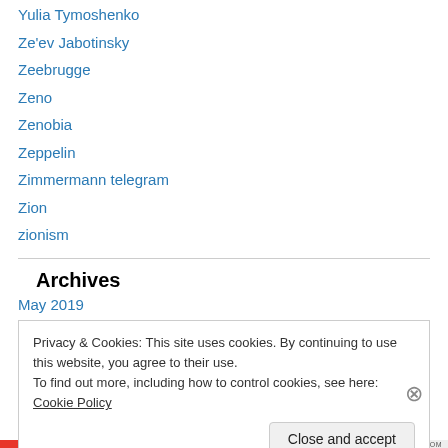Yulia Tymoshenko
Ze'ev Jabotinsky
Zeebrugge
Zeno
Zenobia
Zeppelin
Zimmermann telegram
Zion
zionism
Archives
May 2019
Privacy & Cookies: This site uses cookies. By continuing to use this website, you agree to their use.
To find out more, including how to control cookies, see here: Cookie Policy
Close and accept